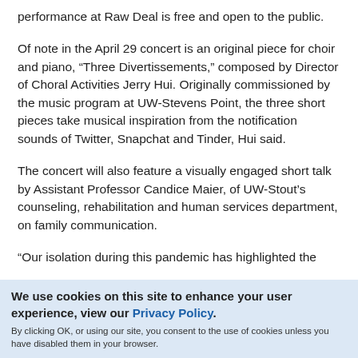performance at Raw Deal is free and open to the public.
Of note in the April 29 concert is an original piece for choir and piano, “Three Divertissements,” composed by Director of Choral Activities Jerry Hui. Originally commissioned by the music program at UW-Stevens Point, the three short pieces take musical inspiration from the notification sounds of Twitter, Snapchat and Tinder, Hui said.
The concert will also feature a visually engaged short talk by Assistant Professor Candice Maier, of UW-Stout’s counseling, rehabilitation and human services department, on family communication.
“Our isolation during this pandemic has highlighted the
We use cookies on this site to enhance your user experience, view our Privacy Policy.
By clicking OK, or using our site, you consent to the use of cookies unless you have disabled them in your browser.